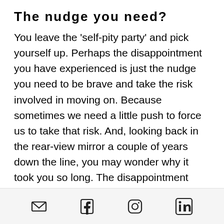The nudge you need?
You leave the ‘self-pity party’ and pick yourself up.  Perhaps the disappointment you have experienced is just the nudge you need to be brave and take the risk involved in moving on.  Because sometimes we need a little push to force us to take that risk.  And, looking back in the rear-view mirror a couple of years down the line, you may wonder why it took you so long.  The disappointment which forced you to make a big decision may well have opened up opportunities which might otherwise have passed you by.
In life more generally, but particularly...
Email | Facebook | Instagram | LinkedIn